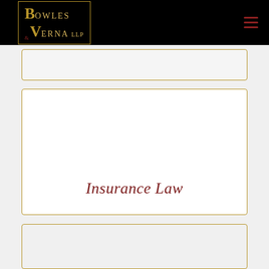Bowles & Verna LLP
[Figure (other): Top card region partially visible, gray background with gold border]
Insurance Law
[Figure (other): Bottom card region partially visible, gray background with gold border]